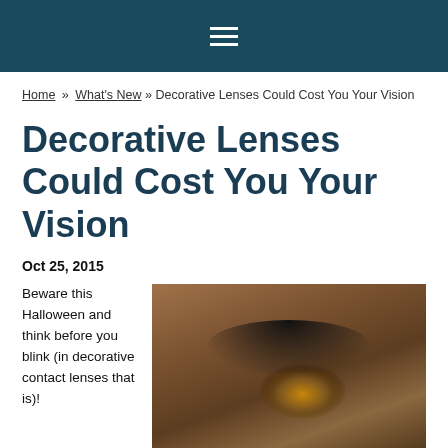☰ (navigation menu)
Home » What's New » Decorative Lenses Could Cost You Your Vision
Decorative Lenses Could Cost You Your Vision
Oct 25, 2015
Beware this Halloween and think before you blink (in decorative contact lenses that is)!
[Figure (photo): Close-up photo of a human eye with long eyelashes, showing iris detail with warm brown and amber tones]